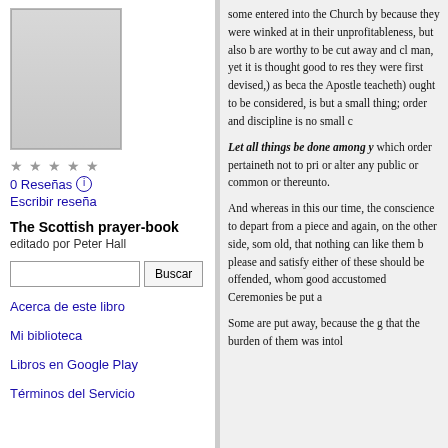[Figure (illustration): Book cover thumbnail for The Scottish prayer-book]
0 Reseñas  Escribir reseña
The Scottish prayer-book
editado por Peter Hall
Acerca de este libro
Mi biblioteca
Libros en Google Play
Términos del Servicio
some entered into the Church by because they were winked at in their unprofitableness, but also b are worthy to be cut away and cl man, yet it is thought good to res they were first devised,) as beca the Apostle teacheth) ought to be considered, is but a small thing; order and discipline is no small c
Let all things be done among y which order pertaineth not to pri or alter any public or common or thereunto.
And whereas in this our time, the conscience to depart from a piece and again, on the other side, som old, that nothing can like them b please and satisfy either of these should be offended, whom good accustomed Ceremonies be put a
Some are put away, because the g that the burden of them was intol